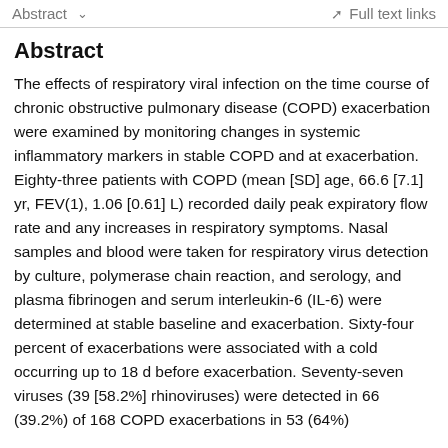Abstract   ∨   Full text links
Abstract
The effects of respiratory viral infection on the time course of chronic obstructive pulmonary disease (COPD) exacerbation were examined by monitoring changes in systemic inflammatory markers in stable COPD and at exacerbation. Eighty-three patients with COPD (mean [SD] age, 66.6 [7.1] yr, FEV(1), 1.06 [0.61] L) recorded daily peak expiratory flow rate and any increases in respiratory symptoms. Nasal samples and blood were taken for respiratory virus detection by culture, polymerase chain reaction, and serology, and plasma fibrinogen and serum interleukin-6 (IL-6) were determined at stable baseline and exacerbation. Sixty-four percent of exacerbations were associated with a cold occurring up to 18 d before exacerbation. Seventy-seven viruses (39 [58.2%] rhinoviruses) were detected in 66 (39.2%) of 168 COPD exacerbations in 53 (64%) patients. Viral exacerbations were associated with